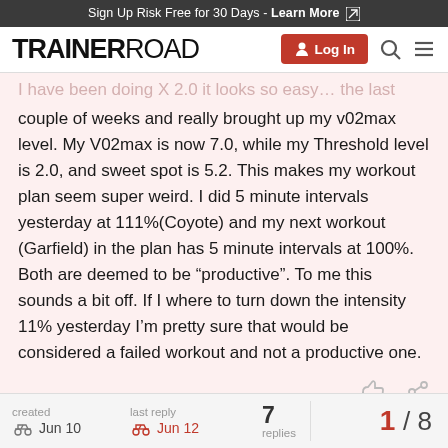Sign Up Risk Free for 30 Days - Learn More
[Figure (logo): TrainerRoad logo with Log In button, search icon, and hamburger menu]
couple of weeks and really brought up my v02max level. My V02max is now 7.0, while my Threshold level is 2.0, and sweet spot is 5.2. This makes my workout plan seem super weird. I did 5 minute intervals yesterday at 111%(Coyote) and my next workout (Garfield) in the plan has 5 minute intervals at 100%. Both are deemed to be “productive”. To me this sounds a bit off. If I where to turn down the intensity 11% yesterday I’m pretty sure that would be considered a failed workout and not a productive one.
created Jun 10  last reply Jun 12  7 replies  1 / 8